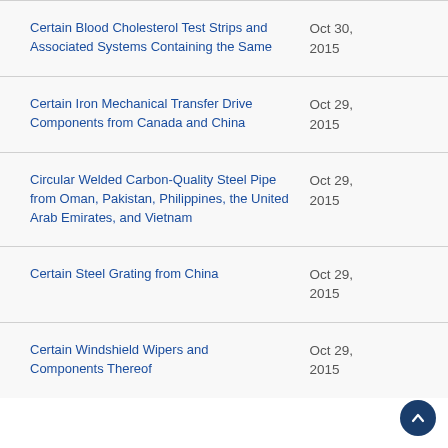Certain Blood Cholesterol Test Strips and Associated Systems Containing the Same
Certain Iron Mechanical Transfer Drive Components from Canada and China
Circular Welded Carbon-Quality Steel Pipe from Oman, Pakistan, Philippines, the United Arab Emirates, and Vietnam
Certain Steel Grating from China
Certain Windshield Wipers and Components Thereof